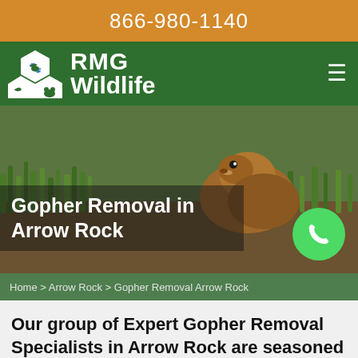866-980-1140
[Figure (logo): RMG Wildlife logo with hexagon animal icons and company name]
[Figure (photo): Hero image of a gopher in grass with title overlay 'Gopher Removal in Arrow Rock' and a green phone call button]
Home > Arrow Rock > Gopher Removal Arrow Rock
Our group of Expert Gopher Removal Specialists in Arrow Rock are seasoned experts at finding